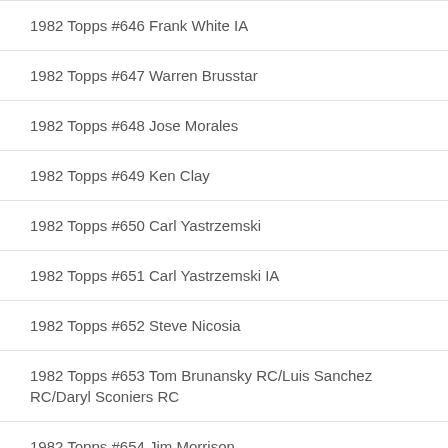1982 Topps #646 Frank White IA
1982 Topps #647 Warren Brusstar
1982 Topps #648 Jose Morales
1982 Topps #649 Ken Clay
1982 Topps #650 Carl Yastrzemski
1982 Topps #651 Carl Yastrzemski IA
1982 Topps #652 Steve Nicosia
1982 Topps #653 Tom Brunansky RC/Luis Sanchez RC/Daryl Sconiers RC
1982 Topps #654 Jim Morrison
1982 Topps #655 Joel Youngblood